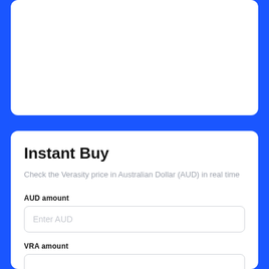[Figure (other): White card panel at the top of the page against a blue background, empty content area]
Instant Buy
Check the Verasity price in Australian Dollar (AUD) in real time
AUD amount
[Figure (other): Input field with placeholder text 'Enter AUD']
VRA amount
[Figure (other): Input field for VRA amount, partially visible at bottom of page]